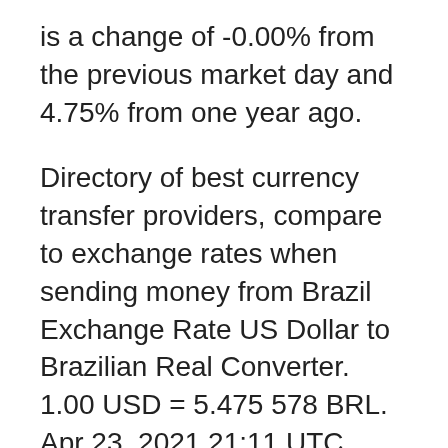is a change of -0.00% from the previous market day and 4.75% from one year ago.
Directory of best currency transfer providers, compare to exchange rates when sending money from Brazil Exchange Rate US Dollar to Brazilian Real Converter. 1.00 USD = 5.475 578 BRL. Apr 23, 2021 21:11 UTC. View USD Rates Table; View BRL Rates Table; View USD / BRL Currency Exchange Rates - International Money Transfer | Xe This is the US Dollar (USD) to Brazilian Real (BRL) exchange rate history summary page, detailing 180 days of USD BRL historical data from Sunday 25/10/2020 to Wednesday 21/04/2021 Highest: 5.8773 Updated spot exchange rate of BRAZIL REAL (BRL) against the US dollar index. Find currency & selling price and other forex information Brazilian Real exchange